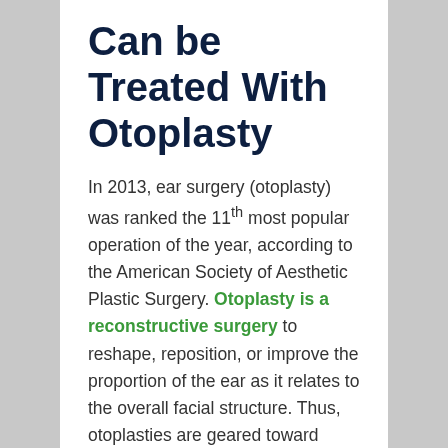Can be Treated With Otoplasty
In 2013, ear surgery (otoplasty) was ranked the 11th most popular operation of the year, according to the American Society of Aesthetic Plastic Surgery. Otoplasty is a reconstructive surgery to reshape, reposition, or improve the proportion of the ear as it relates to the overall facial structure. Thus, otoplasties are geared toward fixing large and protruding ears. Boulder Plastic Surgery handles otoplasty procedures among other facial rejuvenation options (eye brow lift, eye lid surgery, rhinoplasty, etc.)